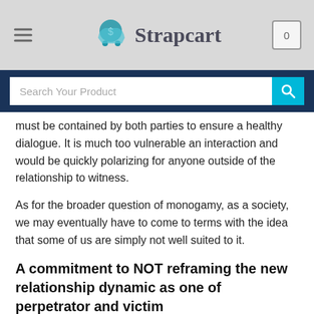Strapcart
must be contained by both parties to ensure a healthy dialogue. It is much too vulnerable an interaction and would be quickly polarizing for anyone outside of the relationship to witness.
As for the broader question of monogamy, as a society, we may eventually have to come to terms with the idea that some of us are simply not well suited to it.
A commitment to NOT reframing the new relationship dynamic as one of perpetrator and victim
Love and desire are extremely subtle and complicated